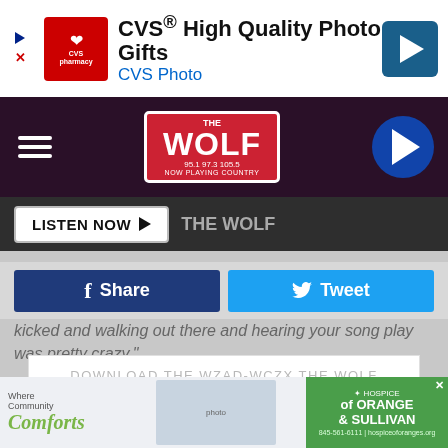[Figure (screenshot): CVS Pharmacy advertisement banner: CVS High Quality Photo Gifts, CVS Photo]
[Figure (screenshot): The Wolf radio station navigation bar with hamburger menu, Wolf logo, and play button]
[Figure (screenshot): Listen Now button bar with THE WOLF label]
[Figure (screenshot): Facebook Share and Twitter Tweet buttons]
kicked and walking out there and hearing your song play was pretty crazy.”
[Figure (screenshot): Download the WZAD-WCZX The Wolf Mobile App advertisement with GET OUR FREE MOBILE APP button]
[Figure (screenshot): Hospice of Orange and Sullivan advertisement at bottom]